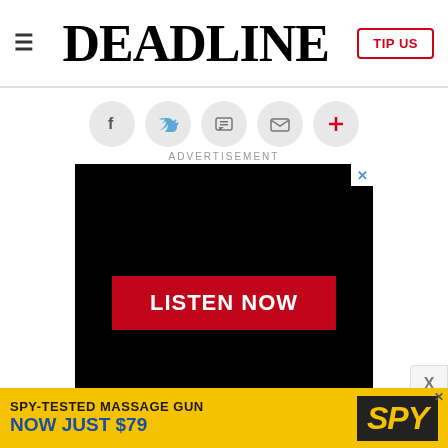DEADLINE
[Figure (screenshot): Social sharing icons row: Facebook, Twitter, Print, Email, Plus]
ADVERTISEMENT
[Figure (screenshot): Black advertisement block with red LISTEN NOW button]
[Figure (screenshot): Bottom banner ad: SPY-TESTED MASSAGE GUN NOW JUST $79 with SPY logo on yellow background]